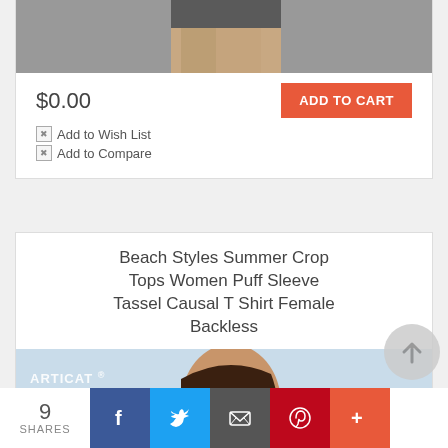[Figure (photo): Partial view of a product photo (top card), cropped showing lower portion of a model, gray background]
$0.00
ADD TO CART
Add to Wish List
Add to Compare
Beach Styles Summer Crop Tops Women Puff Sleeve Tassel Causal T Shirt Female Backless
[Figure (photo): Young woman wearing a white puff sleeve crop top with tassel/tie front, low neckline, gold necklace, at a marina/harbor with boats in background. Watermark: ARTICAT ®]
9
SHARES